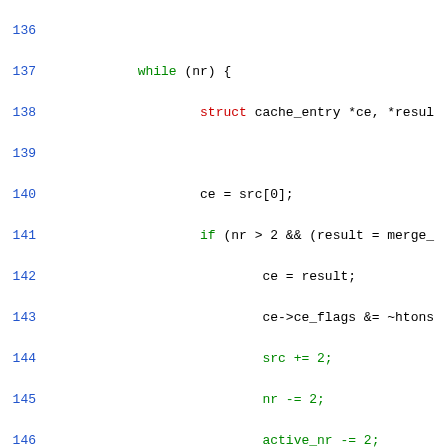[Figure (screenshot): Source code viewer showing C code lines 136-165 with syntax highlighting. Line numbers in blue on the left, keywords in green, string literals and type names in red, and general code in black.]